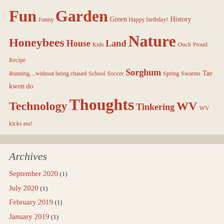Fun Funny Garden Green Happy birthday! History Honeybees House Kids Land Nature Ouch Proud Recipe Running…without being chased School Soccer Sorghum Spring Swarms Tae kwon do Technology Thoughts Tinkering WV WV kicks ass!
Archives
September 2020 (1)
July 2020 (1)
February 2019 (1)
January 2019 (1)
August 2017 (1)
February 2017 (1)
August 2016 (1)